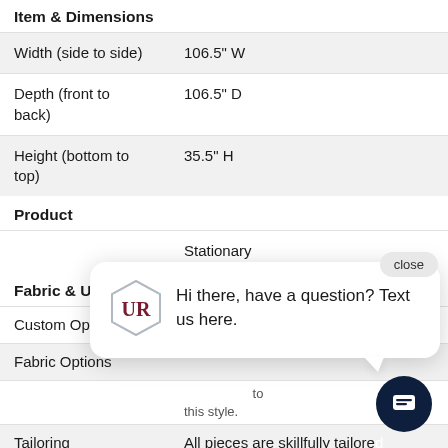Item & Dimensions
|  |  |
| --- | --- |
| Width (side to side) | 106.5" W |
| Depth (front to back) | 106.5" D |
| Height (bottom to top) | 35.5" H |
Product
|  |  |
| --- | --- |
|  | Stationary |
Fabric & Upholstery
|  |  |
| --- | --- |
| Custom Options |  |
| Fabric Options |  |
| Tailoring | All pieces are skillfully tailored |
Style Elements
[Figure (other): Chat popup widget with hexagonal logo (UR monogram), message 'Hi there, have a question? Text us here.' and a close button. Dark navy chat bubble button in bottom right corner.]